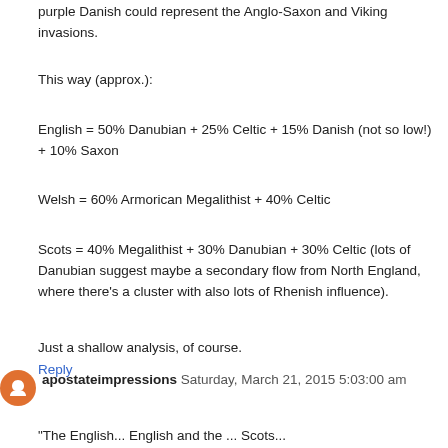purple Danish could represent the Anglo-Saxon and Viking invasions.
This way (approx.):
English = 50% Danubian + 25% Celtic + 15% Danish (not so low!) + 10% Saxon
Welsh = 60% Armorican Megalithist + 40% Celtic
Scots = 40% Megalithist + 30% Danubian + 30% Celtic (lots of Danubian suggest maybe a secondary flow from North England, where there's a cluster with also lots of Rhenish influence).
Just a shallow analysis, of course.
Reply
apostateimpressions Saturday, March 21, 2015 5:03:00 am
The English... English and the ... Scots...